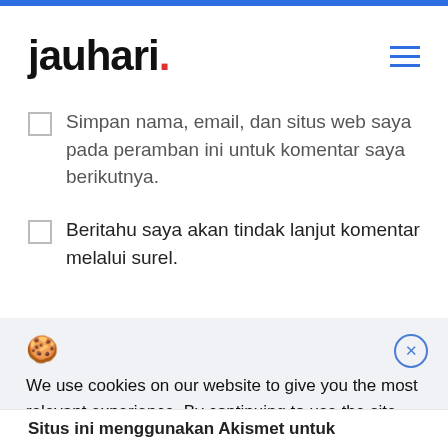[Figure (logo): jauhari. logo with red dot and hamburger menu icon]
Simpan nama, email, dan situs web saya pada peramban ini untuk komentar saya berikutnya.
Beritahu saya akan tindak lanjut komentar melalui surel.
We use cookies on our website to give you the most relevant experience. By continuing to use the site, you agree to the use of cookies.
Decline
Accept
Situs ini menggunakan Akismet untuk